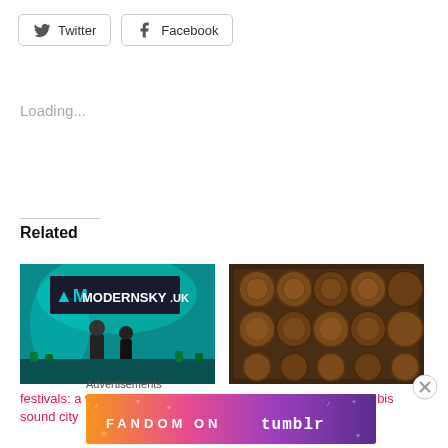[Figure (other): Twitter and Facebook share buttons]
Loading...
Related
[Figure (photo): Concert photo showing Modern Sky UK banner with performers on stage under teal lighting]
[Figure (photo): Overhead photo of multiple small food jars/containers arranged in rows on a table]
festivals: a weekend at liverpool sound city
Staying In Liverpool with Ibis Styles
Advertisements
[Figure (other): Fandom on Tumblr advertisement banner with colorful gradient background]